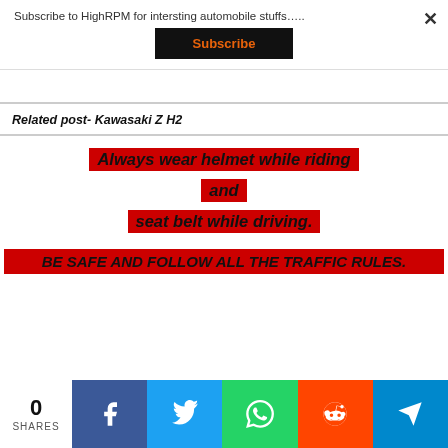Subscribe to HighRPM for intersting automobile stuffs…..
Subscribe
×
Related post- Kawasaki Z H2
Always wear helmet while riding
and
seat belt while driving.
BE SAFE AND FOLLOW ALL THE TRAFFIC RULES.
0 SHARES